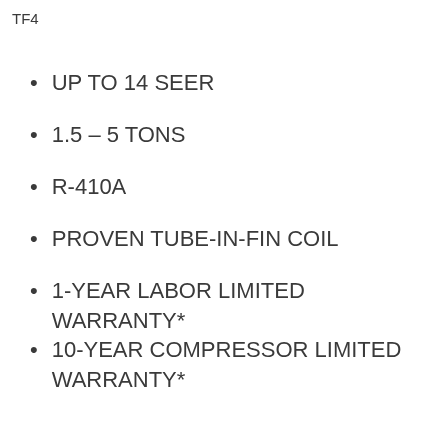TF4
UP TO 14 SEER
1.5 – 5 TONS
R-410A
PROVEN TUBE-IN-FIN COIL
1-YEAR LABOR LIMITED WARRANTY*
10-YEAR COMPRESSOR LIMITED WARRANTY*